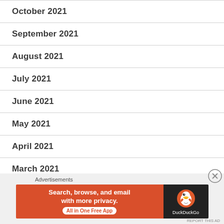October 2021
September 2021
August 2021
July 2021
June 2021
May 2021
April 2021
March 2021
February 2021
[Figure (screenshot): DuckDuckGo advertisement banner: 'Search, browse, and email with more privacy. All in One Free App' with DuckDuckGo logo on dark background.]